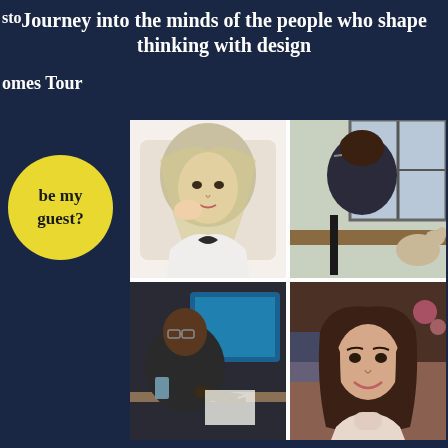Journey into the minds of the people who shape thinking with design
sto
comes Tour
be my guest?
[Figure (photo): Four-panel photo grid: top-left woman with blonde wavy hair wearing a black bow blouse; top-right man with curly hair and glasses sitting at table with a dog, viewed from behind; bottom-left man with glasses writing/working at a desk with a laptop; bottom-right young woman with brown shoulder-length hair smiling in a restaurant setting]
Homes Tour